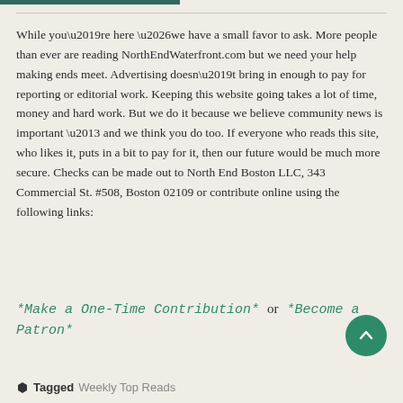While you’re here …we have a small favor to ask. More people than ever are reading NorthEndWaterfront.com but we need your help making ends meet. Advertising doesn’t bring in enough to pay for reporting or editorial work. Keeping this website going takes a lot of time, money and hard work. But we do it because we believe community news is important – and we think you do too. If everyone who reads this site, who likes it, puts in a bit to pay for it, then our future would be much more secure. Checks can be made out to North End Boston LLC, 343 Commercial St. #508, Boston 02109 or contribute online using the following links:
*Make a One-Time Contribution* or *Become a Patron*
Tagged Weekly Top Reads